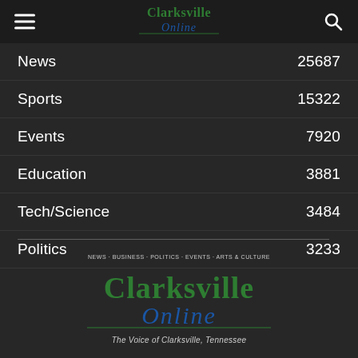[Figure (logo): Clarksville Online logo in header - green stylized text]
News 25687
Sports 15322
Events 7920
Education 3881
Tech/Science 3484
Politics 3233
[Figure (logo): Clarksville Online full logo with tagline 'NEWS · BUSINESS · POLITICS · EVENTS · ARTS & CULTURE' and 'The Voice of Clarksville, Tennessee']